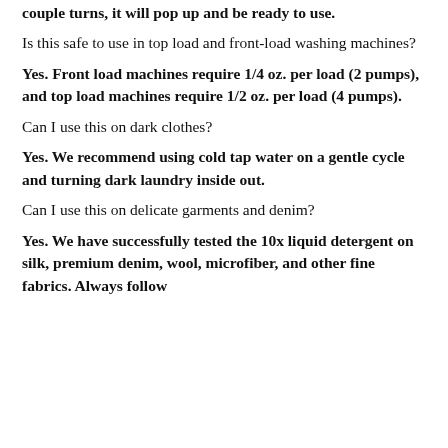couple turns, it will pop up and be ready to use.
Is this safe to use in top load and front-load washing machines?
Yes. Front load machines require 1/4 oz. per load (2 pumps), and top load machines require 1/2 oz. per load (4 pumps).
Can I use this on dark clothes?
Yes. We recommend using cold tap water on a gentle cycle and turning dark laundry inside out.
Can I use this on delicate garments and denim?
Yes. We have successfully tested the 10x liquid detergent on silk, premium denim, wool, microfiber, and other fine fabrics. Always follow